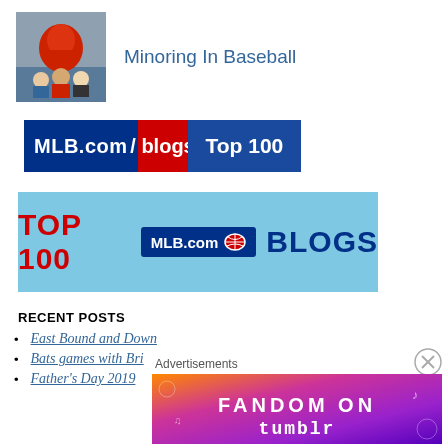[Figure (photo): Blog header photo showing a baseball mascot with fans in the background]
Minoring In Baseball
[Figure (logo): MLB.com/blogs Top 100 badge with blue and red background]
[Figure (logo): TOP 100 MLB.com BLOGS banner with light blue background]
RECENT POSTS
East Bound and Down
Bats games with Bri
Father's Day 2019
Advertisements
[Figure (photo): Fandom on Tumblr advertisement banner with colorful gradient background]